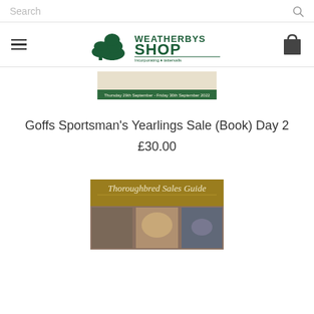Search
[Figure (logo): Weatherbys Shop logo with tree icon and tagline]
[Figure (photo): Goffs Sportsman's Yearlings Sale catalogue cover image with green banner reading Thursday 29th September - Friday 30th September 2022]
Goffs Sportsman's Yearlings Sale (Book) Day 2
£30.00
[Figure (photo): Thoroughbred Sales Guide book cover with gold background and horse racing photos]